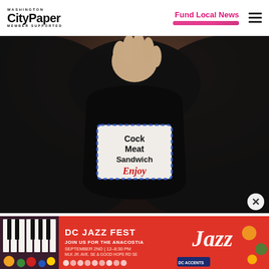Washington City Paper — Member Supported | Fund Local News
[Figure (photo): A person holding up a black baby bib with a white label reading 'Cock Meat Sandwich Enjoy' in bold and script lettering, with a blue decorative border]
[Figure (infographic): DC Jazz Fest advertisement banner: red background with piano keys on left, text 'DC JAZZ FEST | JOIN US FOR THE ANACOSTIA | SEPTEMBER 2ND | 12–8:30 PM' and Jazz logo on the right]